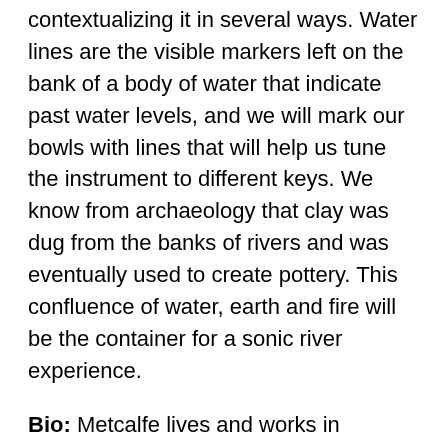contextualizing it in several ways. Water lines are the visible markers left on the bank of a body of water that indicate past water levels, and we will mark our bowls with lines that will help us tune the instrument to different keys. We know from archaeology that clay was dug from the banks of rivers and was eventually used to create pottery. This confluence of water, earth and fire will be the container for a sonic river experience.
Bio: Metcalfe lives and works in Minneapolis where she graduated from the University of Minnesota in 2009 with her MFA. Metcalfe currently teaches at Minneapolis College in downtown Minneapolis. Interested in the junction of public art and craft, she makes work inspired by water, agriculture, food and community. As a teaching artist, Metcalfe loves to promote collaboration and interdisciplinary learning environments between the sciences and art-